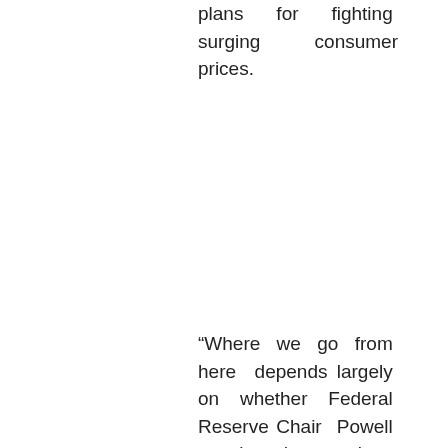plans for fighting surging consumer prices.
“Where we go from here depends largely on whether Federal Reserve Chair Powell spooks the markets with his pre-released comments and what inflation data from the UK shows